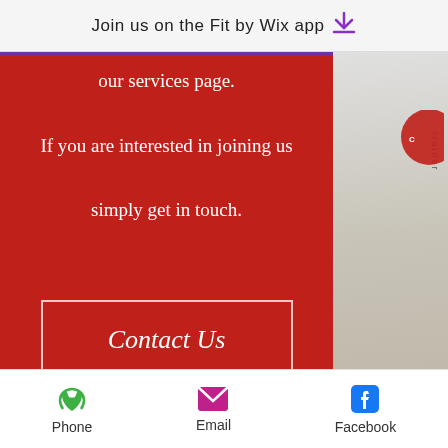Join us on the Fit by Wix app ↓
our services page.

If you are interested in joining us simply get in touch.
Contact Us
Get in Touch
[Figure (illustration): Dark navy phone handset icon]
Email Us
Phone   Email   Facebook